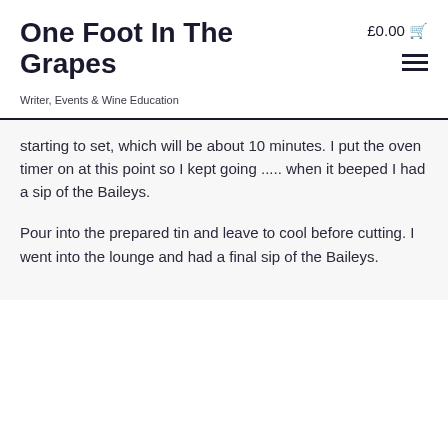One Foot In The Grapes
Writer, Events & Wine Education
starting to set, which will be about 10 minutes. I put the oven timer on at this point so I kept going ..... when it beeped I had a sip of the Baileys.
Pour into the prepared tin and leave to cool before cutting. I went into the lounge and had a final sip of the Baileys.